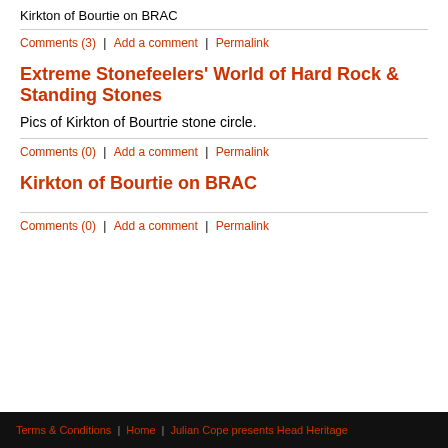Kirkton of Bourtie on BRAC
Comments (3)  |  Add a comment  |  Permalink
Extreme Stonefeelers' World of Hard Rock & Standing Stones
Pics of Kirkton of Bourtrie stone circle.
Comments (0)  |  Add a comment  |  Permalink
Kirkton of Bourtie on BRAC
Comments (0)  |  Add a comment  |  Permalink
Terms & Conditions  |  Home  |  Julian Cope presents Head Heritage